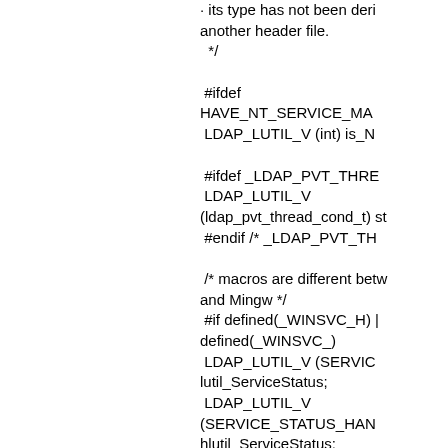· its type has not been defined in another header file.
 */

 #ifdef HAVE_NT_SERVICE_MA
 LDAP_LUTIL_V (int) is_N

 #ifdef _LDAP_PVT_THRE
 LDAP_LUTIL_V
(ldap_pvt_thread_cond_t) st
 #endif /* _LDAP_PVT_TH

 /* macros are different betw
and Mingw */
 #if defined(_WINSVC_H) |
defined(_WINSVC_)
 LDAP_LUTIL_V (SERVIC
lutil_ServiceStatus;
 LDAP_LUTIL_V
(SERVICE_STATUS_HAN
hlutil_ServiceStatus;
 #endif /* _WINSVC_H */

 LDAP_LUTIL_F (void)
lutil_CommonesStartupPro